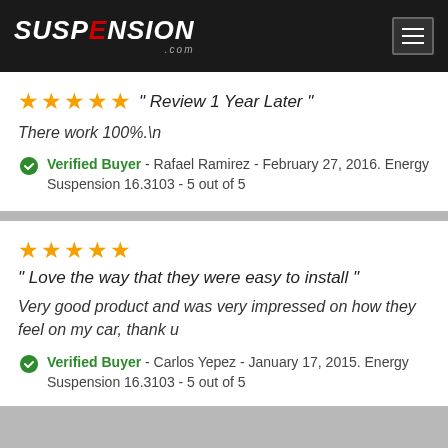Suspension.com
★★★★★ "Review 1 Year Later"
There work 100%.\n
Verified Buyer - Rafael Ramirez - February 27, 2016. Energy Suspension 16.3103 - 5 out of 5
★★★★★ "Love the way that they were easy to install"
Very good product and was very impressed on how they feel on my car, thank u
Verified Buyer - Carlos Yepez - January 17, 2015. Energy Suspension 16.3103 - 5 out of 5